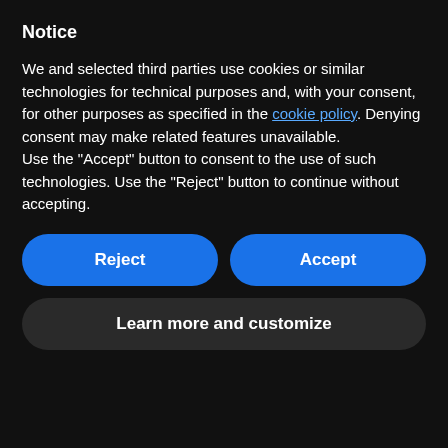Notice
We and selected third parties use cookies or similar technologies for technical purposes and, with your consent, for other purposes as specified in the cookie policy. Denying consent may make related features unavailable.
Use the “Accept” button to consent to the use of such technologies. Use the “Reject” button to continue without accepting.
Reject
Accept
Learn more and customize
names and experiences of our TGNC siblings remains as strong as ever. That is our promise to you.
s to a greater year ahead, from all of us a MTPC.